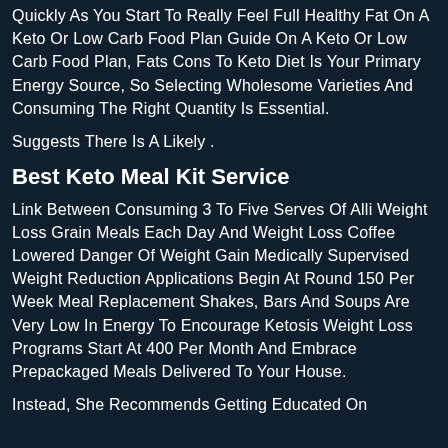Quickly As You Start To Really Feel Full Healthy Fat On A Keto Or Low Carb Food Plan Guide On A Keto Or Low Carb Food Plan, Fats Cons To Keto Diet Is Your Primary Energy Source, So Selecting Wholesome Varieties And Consuming The Right Quantity Is Essential.
Suggests There Is A Likely .
Best Keto Meal Kit Service
Link Between Consuming 3 To Five Serves Of Alli Weight Loss Grain Meals Each Day And Weight Loss Coffee Lowered Danger Of Weight Gain Medically Supervised Weight Reduction Applications Begin At Round 150 Per Week Meal Replacement Shakes, Bars And Soups Are Very Low In Energy To Encourage Ketosis Weight Loss Programs Start At 400 Per Month And Embrace Prepackaged Meals Delivered To Your House.
Instead, She Recommends Getting Educated On